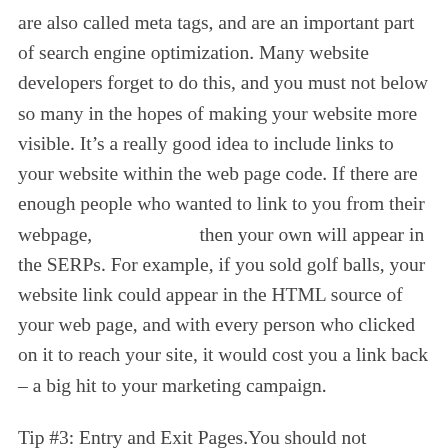are also called meta tags, and are an important part of search engine optimization. Many website developers forget to do this, and you must not below so many in the hopes of making your website more visible. It's a really good idea to include links to your website within the web page code. If there are enough people who wanted to link to you from their webpage,                    then your own will appear in the SERPs. For example, if you sold golf balls, your website link could appear in the HTML source of your web page, and with every person who clicked on it to reach your site, it would cost you a link back – a big hit to your marketing campaign.
Tip #3: Entry and Exit Pages.You should not